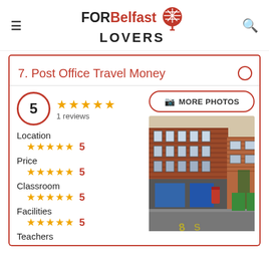FOR Belfast LOVERS
7. Post Office Travel Money
5 — 1 reviews
Location ★★★★★ 5
Price ★★★★★ 5
Classroom ★★★★★ 5
Facilities ★★★★★ 5
Teachers
[Figure (photo): Street view photo of a brick building, Post Office Travel Money location in Belfast]